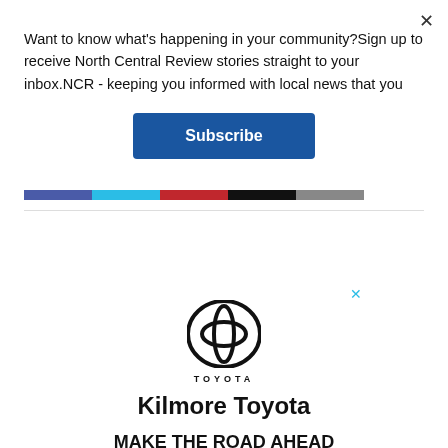Want to know what's happening in your community?Sign up to receive North Central Review stories straight to your inbox.NCR - keeping you informed with local news that you
[Figure (other): Subscribe button - blue rounded rectangle with white text 'Subscribe']
[Figure (other): Horizontal color bar with segments: blue, cyan, red, black, grey]
[Figure (logo): Toyota logo (oval emblem) with text TOYOTA beneath it, followed by 'Kilmore Toyota' text]
MAKE THE ROAD AHEAD SMOOTHER WITH A TOYOTA